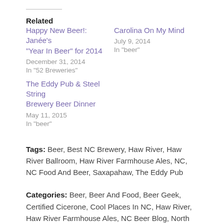Related
Happy New Beer!: Janée's "Year In Beer" for 2014
December 31, 2014
In "52 Breweries"
Carolina On My Mind
July 9, 2014
In "beer"
The Eddy Pub & Steel String Brewery Beer Dinner
May 11, 2015
In "beer"
Tags: Beer, Best NC Brewery, Haw River, Haw River Ballroom, Haw River Farmhouse Ales, NC, NC Food And Beer, Saxapahaw, The Eddy Pub
Categories: Beer, Beer And Food, Beer Geek, Certified Cicerone, Cool Places In NC, Haw River, Haw River Farmhouse Ales, NC Beer Blog, North Carolina, North Carolina Beer, Saxapahaw, Saxapahaw, NC